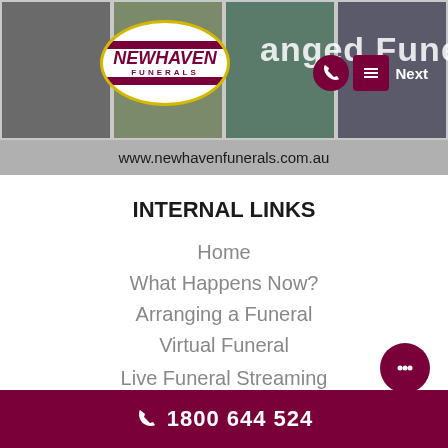[Figure (screenshot): Newhaven Funerals website header banner showing logo, photo strip with funeral-related images, URL bar with www.newhavenfunerals.com.au, phone and menu icons, and partial page title text 'anged Funeral']
INTERNAL LINKS
Home
What Happens Now?
Arranging a Funeral
Virtual Funeral
Live Funeral Streaming
1800 644 524